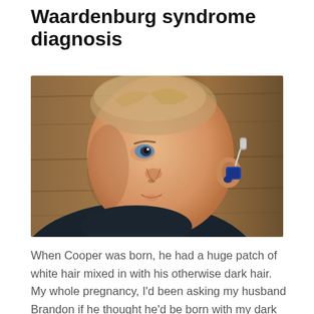Waardenburg syndrome diagnosis
[Figure (photo): Close-up photo of a baby with a hearing aid in the ear, looking upward, wearing a dark shirt, against a wooden background.]
When Cooper was born, he had a huge patch of white hair mixed in with his otherwise dark hair. My whole pregnancy, I'd been asking my husband Brandon if he thought he'd be born with my dark hair or